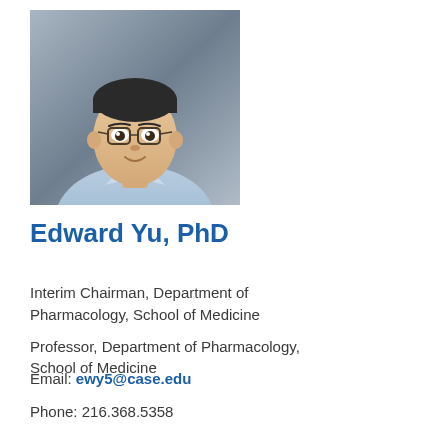[Figure (photo): Professional headshot of Edward Yu, PhD — a man wearing glasses and a light blue button-up shirt, photographed against a gray background.]
Edward Yu, PhD
Interim Chairman, Department of Pharmacology, School of Medicine
Professor, Department of Pharmacology, School of Medicine
Email: ewy5@case.edu
Phone: 216.368.5358